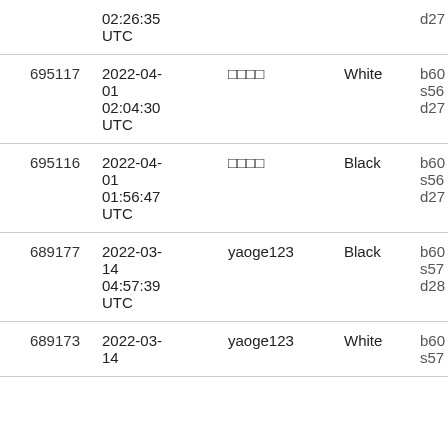| ID | Date | User | Color | Hash |
| --- | --- | --- | --- | --- |
|  | 02:26:35 UTC |  |  | d27 |
| 695117 | 2022-04-01 02:04:30 UTC | □□□□ | White | b60 s56 d27 |
| 695116 | 2022-04-01 01:56:47 UTC | □□□□ | Black | b60 s56 d27 |
| 689177 | 2022-03-14 04:57:39 UTC | yaoge123 | Black | b60 s57 d28 |
| 689173 | 2022-03-14 | yaoge123 | White | b60 s57 |